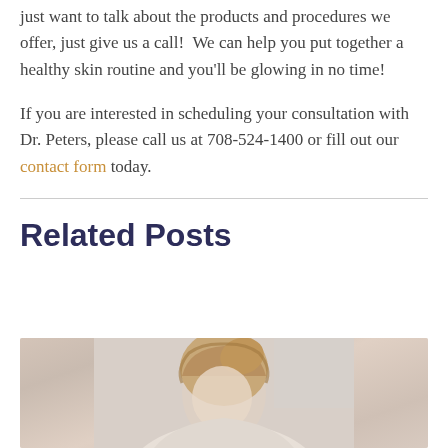just want to talk about the products and procedures we offer, just give us a call!  We can help you put together a healthy skin routine and you'll be glowing in no time!
If you are interested in scheduling your consultation with Dr. Peters, please call us at 708-524-1400 or fill out our contact form today.
Related Posts
[Figure (photo): Partial photo of a woman with blonde hair pulled back, light background, bottom of image cropped]